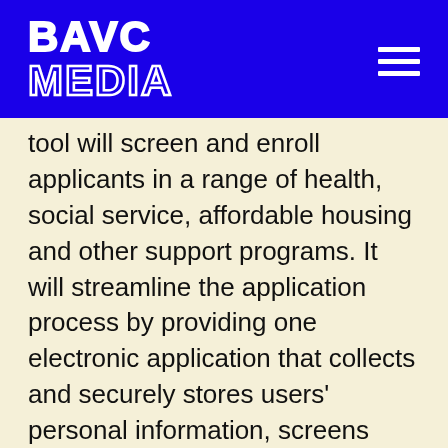BAVC MEDIA
tool will screen and enroll applicants in a range of health, social service, affordable housing and other support programs. It will streamline the application process by providing one electronic application that collects and securely stores users' personal information, screens their eligibility, and then delivers the data electronically (or offline) to service providers.
Rhizome | $200,000 |Twitter: @rhizome | New York